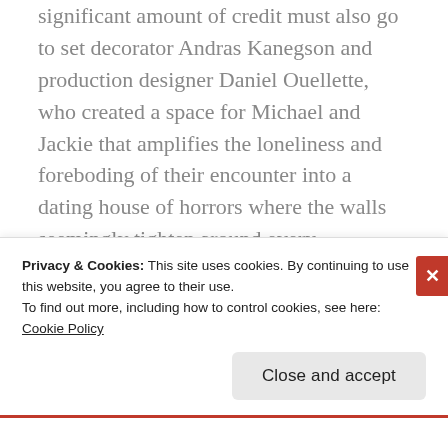significant amount of credit must also go to set decorator Andras Kanegson and production designer Daniel Ouellette, who created a space for Michael and Jackie that amplifies the loneliness and foreboding of their encounter into a dating house of horrors where the walls seemingly tighten around every misspoken word. Many thanks to O-Scope Pictures for their masterful 4K restoration of this seldom-seen, but essential work of cinema, which has gained an even greater relevance today due to our growing inability to openly communicate with one
Privacy & Cookies: This site uses cookies. By continuing to use this website, you agree to their use.
To find out more, including how to control cookies, see here: Cookie Policy
Close and accept